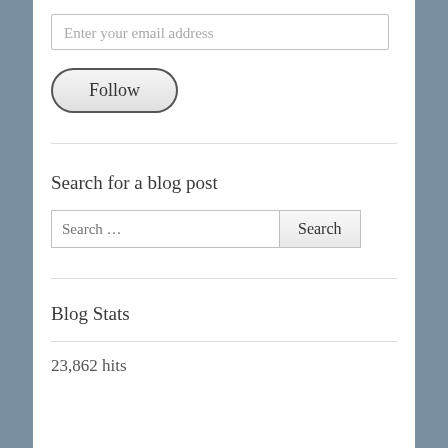Enter your email address
Follow
Search for a blog post
Search …
Search
Blog Stats
23,862 hits